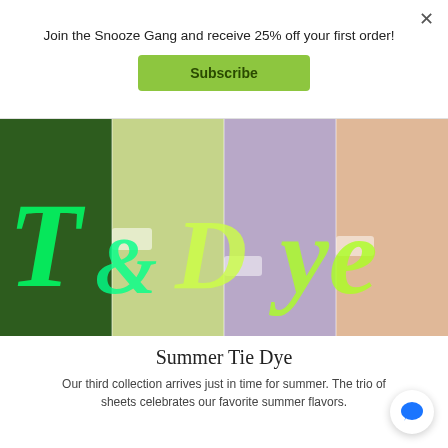Join the Snooze Gang and receive 25% off your first order!
Subscribe
[Figure (photo): Tie-dye colored fabric sheets laid out on grass, with large overlaid text 'Tie Dye' in neon green/yellow colors]
Summer Tie Dye
Our third collection arrives just in time for summer. The trio of sheets celebrates our favorite summer flavors.